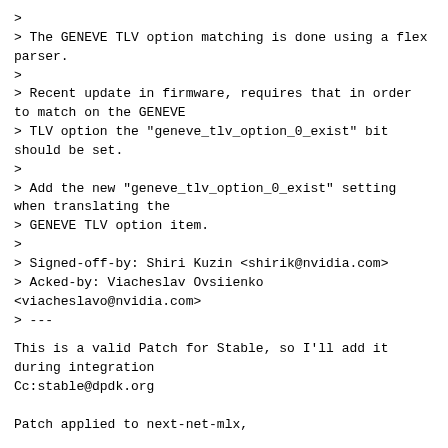>
> The GENEVE TLV option matching is done using a flex parser.
>
> Recent update in firmware, requires that in order to match on the GENEVE
> TLV option the "geneve_tlv_option_0_exist" bit should be set.
>
> Add the new "geneve_tlv_option_0_exist" setting when translating the
> GENEVE TLV option item.
>
> Signed-off-by: Shiri Kuzin <shirik@nvidia.com>
> Acked-by: Viacheslav Ovsiienko <viacheslavo@nvidia.com>
> ---
This is a valid Patch for Stable, so I'll add it during integration
Cc:stable@dpdk.org

Patch applied to next-net-mlx,

Kindest regards,
Raslan Darawsheh
next      parent reply  other threads:[~2021-06-06 11:32 UTC|newest]